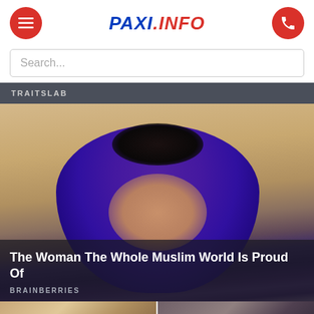PAXI.INFO
Search...
TRAITSLAB
[Figure (photo): Portrait of a young woman wearing a purple hijab, photographed against a warm beige background. Article card with overlay text.]
The Woman The Whole Muslim World Is Proud Of
BRAINBERRIES
[Figure (photo): Two thumbnail images at the bottom of the page showing partial portraits of women.]